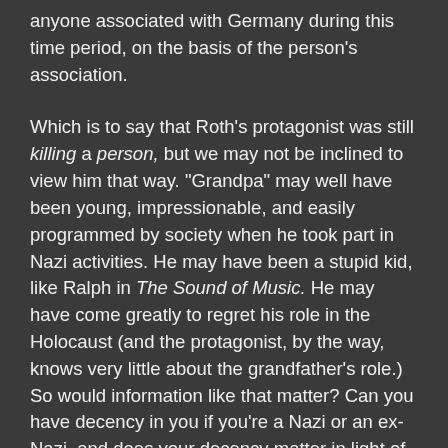anyone associated with Germany during this time period, on the basis of the person's association.
Which is to say that Roth's protagonist was still killing a person, but we may not be inclined to view him that way. "Grandpa" may well have been young, impressionable, and easily programmed by society when he took part in Nazi activities.  He may have been a stupid kid, like Ralph in The Sound of Music.  He may have come greatly to regret his role in the Holocaust (and the protagonist, by the way, knows very little about the grandfather's role.)  So would information like that matter? Can you have decency in you if you're a Nazi or an ex-Nazi, and does your decency matter in light of what you were involved in?  More importantly, does one take justice into his own hands and kill someone's grandfather, even if that grandfather may have played a part in killing many other grandfathers – and mothers, and fathers, and brothers, and sisters –years ago?  I can see the protagonist's rationale, but I'm uncomfortable with it.  Really, it's vigilantism, and it scares me.  I'll accept it from Captain America, but not from an ordinary guy taking a beer tour of